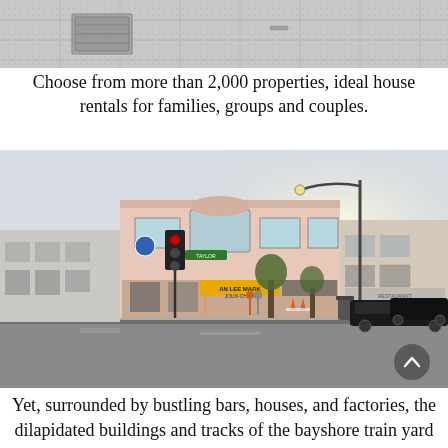[Figure (photo): Top portion of a photo showing a tiled or paved surface with a metal grate/cover, light gray tones, appears to be a floor or sidewalk detail]
Choose from more than 2,000 properties, ideal house rentals for families, groups and couples.
[Figure (photo): Street-level photo of an urban intersection in San Francisco showing a two-story pink/beige corner building with commercial storefronts including 'An Lee Market', traffic signals, parked cars, pedestrians, and street trees]
Yet, surrounded by bustling bars, houses, and factories, the dilapidated buildings and tracks of the bayshore train yard